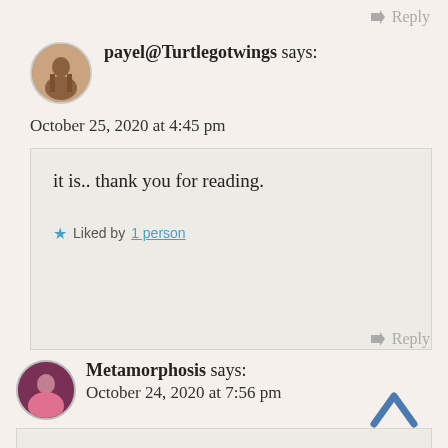Reply
payel@Turtlegotwings says:
October 25, 2020 at 4:45 pm
it is.. thank you for reading.
Liked by 1 person
Reply
Metamorphosis says:
October 24, 2020 at 7:56 pm
This is my ready to go recipe.